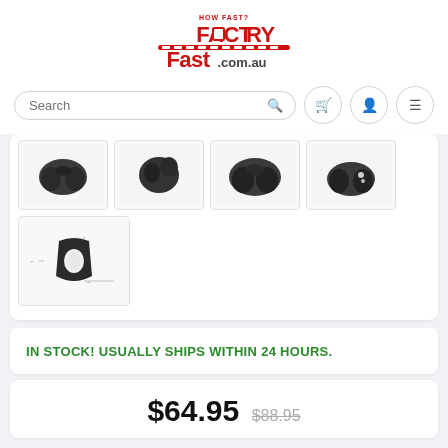[Figure (logo): FactoryFast.com.au logo in red with 'HOW FAST?' tagline]
[Figure (screenshot): Search bar with cart, user, and menu icon buttons]
[Figure (photo): Product thumbnail images showing a black neck/back massager device from multiple angles, including a diagram view]
IN STOCK! USUALLY SHIPS WITHIN 24 HOURS.
$64.95  $88.95